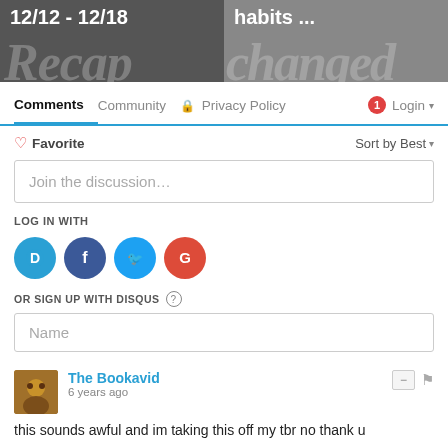[Figure (screenshot): Two side-by-side banner images: left shows '12/12 - 12/18' with large italic 'Recap' text on dark background; right shows 'habits ...' with large italic 'changed' text on gray background]
Comments  Community  🔒 Privacy Policy  🔴1  Login ▾
♡ Favorite    Sort by Best ▾
Join the discussion…
LOG IN WITH
[Figure (logo): Social login icons: Disqus (D, blue), Facebook (f, dark blue), Twitter (bird, light blue), Google (G, red)]
OR SIGN UP WITH DISQUS ?
Name
The Bookavid
6 years ago
this sounds awful and im taking this off my tbr no thank u